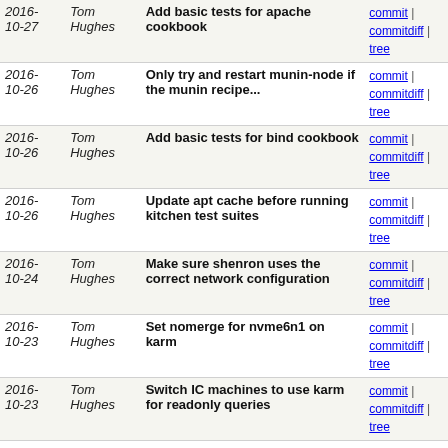| Date | Author | Message | Links |
| --- | --- | --- | --- |
| 2016-10-27 | Tom Hughes | Add basic tests for apache cookbook | commit | commitdiff | tree |
| 2016-10-26 | Tom Hughes | Only try and restart munin-node if the munin recipe... | commit | commitdiff | tree |
| 2016-10-26 | Tom Hughes | Add basic tests for bind cookbook | commit | commitdiff | tree |
| 2016-10-26 | Tom Hughes | Update apt cache before running kitchen test suites | commit | commitdiff | tree |
| 2016-10-24 | Tom Hughes | Make sure shenron uses the correct network configuration | commit | commitdiff | tree |
| 2016-10-23 | Tom Hughes | Set nomerge for nvme6n1 on karm | commit | commitdiff | tree |
| 2016-10-23 | Tom Hughes | Switch IC machines to use karm for readonly queries | commit | commitdiff | tree |
| 2016-10-22 | Tom Hughes | Reload apache when forum code changes | commit | commitdiff | tree |
| 2016-10-22 | Tom Hughes | Add forum to backup expiry list | commit | commitdiff | tree |
| 2016-10-21 | Tom Hughes | Only restart chef-client after log rotation if it is... | commit | commitdiff | tree |
| 2016-10-21 | Tom Hughes | Update the openstreetmap PPA on every run | commit | commitdiff | tree |
| 2016-10-21 | Tom Hughes | Update bundle | commit | commitdiff | tree |
| 2016-10-20 | Tom Hughes | Update bundle | commit | commitdiff | tree |